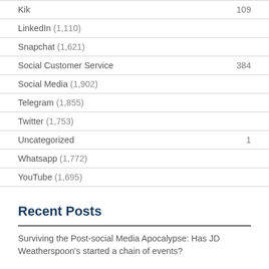Kik 109
LinkedIn (1,110)
Snapchat (1,621)
Social Customer Service 384
Social Media (1,902)
Telegram (1,855)
Twitter (1,753)
Uncategorized 1
Whatsapp (1,772)
YouTube (1,695)
Recent Posts
Surviving the Post-social Media Apocalypse: Has JD Weatherspoon's started a chain of events?